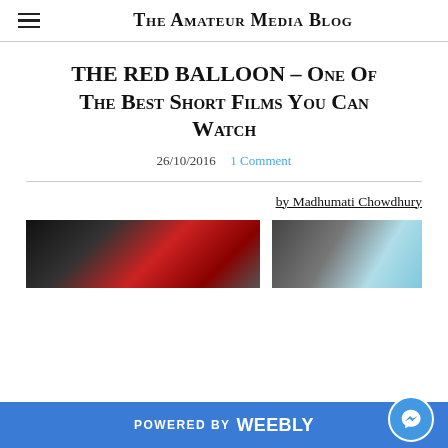The Amateur Media Blog
THE RED BALLOON – One Of The Best Short Films You Can Watch
26/10/2016   1 Comment
by Madhumati Chowdhury
[Figure (photo): Still image from The Red Balloon film, showing a red balloon on the left side and a cyan/light blue background on the right side]
POWERED BY weebly